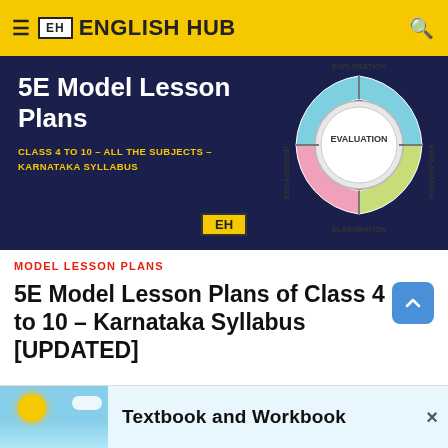≡ EH ENGLISH HUB 🔍
[Figure (infographic): 5E Model Lesson Plans banner with dark navy background. Left side shows bold white text '5E Model Lesson Plans' and yellow subtext 'CLASS 4 TO 10 - ALL THE SUBJECTS - KARNATAKA SYLLABUS'. A yellow EH badge is centered. Right side shows a circular 5E model diagram with concentric rings labeled: EXPLORATION (top), EXPLANATION (right), ELABORATION (bottom), ENGAGEMENT (left), and EVALUATION in the center.]
MODEL LESSON PLANS
5E Model Lesson Plans of Class 4 to 10 - Karnataka Syllabus [UPDATED]
[Figure (illustration): Advertisement thumbnail showing a sunny sky with clouds. Partial text visible: 'Textbook and Workbook']